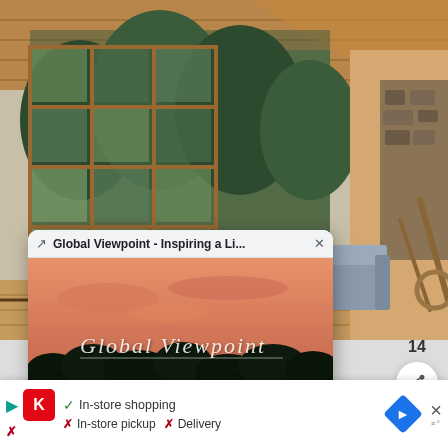[Figure (photo): Interior of a log cabin with floor-to-ceiling wooden frame windows overlooking pine trees, rustic wooden furniture and stone fireplace]
[Figure (screenshot): Browser tab popup showing 'Global Viewpoint - Inspiring a Li...' with a sunset landscape image branded 'GLOBAL VIEWPOINT']
windows. | Credit: VRBO
[Figure (infographic): Heart/favorite button (red), share button, count 14, and bottom bar with in-store shopping info, navigation and close icons]